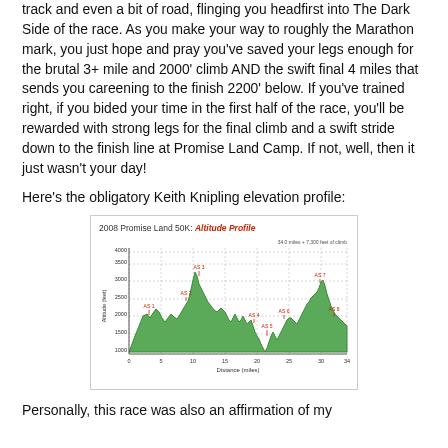track and even a bit of road, flinging you headfirst into The Dark Side of the race. As you make your way to roughly the Marathon mark, you just hope and pray you've saved your legs enough for the brutal 3+ mile and 2000' climb AND the swift final 4 miles that sends you careening to the finish 2200' below. If you've trained right, if you bided your time in the first half of the race, you'll be rewarded with strong legs for the final climb and a swift stride down to the finish line at Promise Land Camp. If not, well, then it just wasn't your day!
Here's the obligatory Keith Knipling elevation profile:
[Figure (continuous-plot): Area/line chart showing altitude profile (feet) vs distance (miles) for the 2008 Promise Land 50K. X-axis: Distance (miles) from 0 to 34. Y-axis: Altitude (feet) from 1000 to 4500. Multiple peaks labeled AS 1 through AS 8. Annotation: 34.0 miles + 7,300 feet of climb. Profile filled with green, showing several climbs and descents.]
Personally, this race was also an affirmation of my